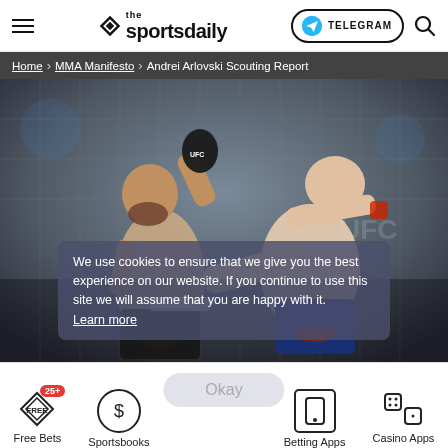the sportsdaily | TELEGRAM | Search
Home > MMA Manifesto > Andrei Arlovski Scouting Report
[Figure (photo): Two UFC fighters in action: left fighter throwing a punch, right fighter delivering a kick in the octagon]
We use cookies to ensure that we give you the best experience on our website. If you continue to use this site we will assume that you are happy with it. Learn more
Free Bets | Sportsbooks | Okay | Betting Apps | Casino Apps